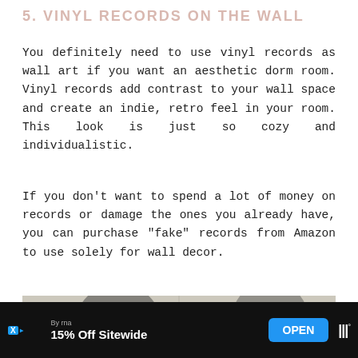5. VINYL RECORDS ON THE WALL
You definitely need to use vinyl records as wall art if you want an aesthetic dorm room. Vinyl records add contrast to your wall space and create an indie, retro feel in your room. This look is just so cozy and individualistic.
If you don't want to spend a lot of money on records or damage the ones you already have, you can purchase “fake” records from Amazon to use solely for wall decor.
[Figure (photo): Photo of vinyl records on a wall, with ivy plant decoration visible in the foreground]
By rna | 15% Off Sitewide | OPEN